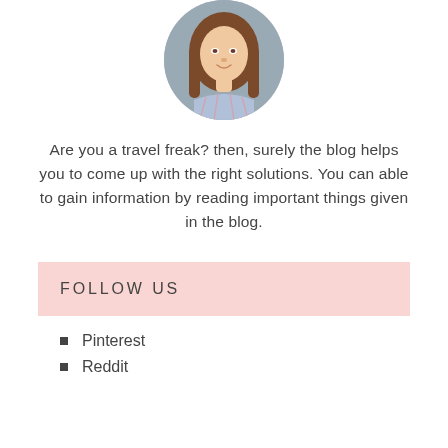[Figure (photo): Circular profile photo of a young woman with long brown hair wearing a plaid shirt, against a gray background.]
Are you a travel freak? then, surely the blog helps you to come up with the right solutions. You can able to gain information by reading important things given in the blog.
FOLLOW US
Pinterest
Reddit